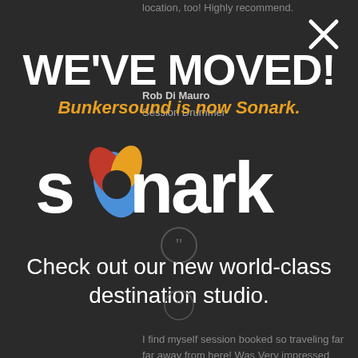location, too! Highly recommend.
Rob Di Mauro
Session Drummer
I find myself session booked so traveling far far away from here! Was Very impressed with both the son tier equipment and enthusiasm.
n Bu ...
Session Singer ngwr...
WE'VE MOVED!
Bunkersound is now Sonark.
[Figure (logo): Sonark logo - text 'sonark' in white with colorful swoosh replacing the 'o']
Check out our new world-class destination studio.
Friendly people, highly skilled, often accomplishing amazing results.